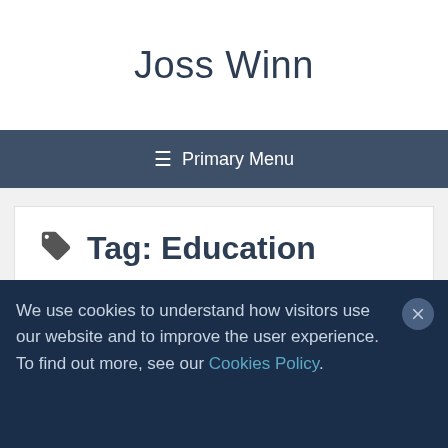Joss Winn
☰ Primary Menu
Tag: Education
We use cookies to understand how visitors use our website and to improve the user experience. To find out more, see our Cookies Policy.